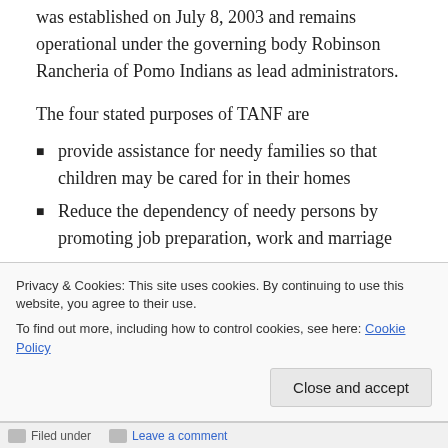was established on July 8, 2003 and remains operational under the governing body Robinson Rancheria of Pomo Indians as lead administrators.
The four stated purposes of TANF are
provide assistance for needy families so that children may be cared for in their homes
Reduce the dependency of needy persons by promoting job preparation, work and marriage
Prevent out-of-wedlock pregnancies
Encourage the formation and
Privacy & Cookies: This site uses cookies. By continuing to use this website, you agree to their use.
To find out more, including how to control cookies, see here: Cookie Policy
Filed under   Leave a comment